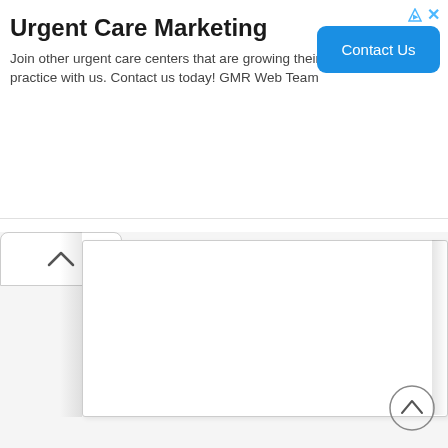[Figure (screenshot): Web advertisement banner for Urgent Care Marketing by GMR Web Team with a blue 'Contact Us' button, ad icons (arrow and X) in the top right corner.]
Urgent Care Marketing
Join other urgent care centers that are growing their practice with us. Contact us today! GMR Web Team
[Figure (screenshot): Web page UI showing a collapsed/expanding content panel with an upward chevron collapse button on the left, a white content area panel in the center-right, and a scroll-to-top circle button at the bottom right.]